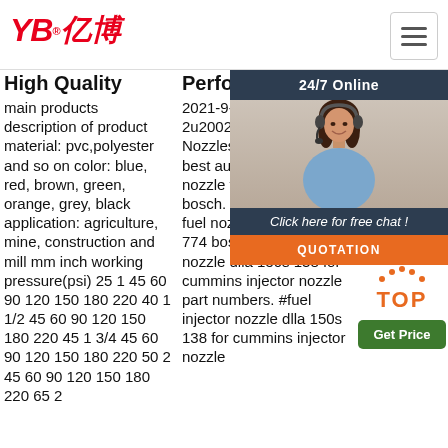YB亿博 logo with navigation hamburger menu
High Quality
main products description of product material: pvc,polyester and so on color: blue, red, brown, green, orange, grey, black application: agriculture, mine, construction and mill mm inch working pressure(psi) 25 1 45 60 90 120 150 180 220 40 1 1/2 45 60 90 120 150 180 220 45 1 3/4 45 60 90 120 150 180 220 50 2 45 60 90 120 150 180 220 65 2
Performance Fuel
2021-9-2u2002·u2002Diesel Nozzles. S type Nozzles. best automatic fuel nozzle for dlla 149 s 774 bosch. #best automatic fuel nozzle for dlla 149 s 774 bosch#. fuel injector nozzle dlla 150s 138 for cummins injector nozzle part numbers. #fuel injector nozzle dlla 150s 138 for cummins injector nozzle
of qualities like excellent light fast insu col pre resi Wa Dur tens adh stre is a of p and is most economical solution ...
[Figure (photo): 24/7 Online chat overlay with woman wearing headset, orange QUOTATION button]